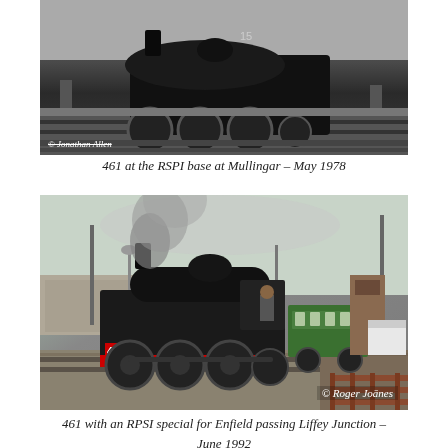[Figure (photo): Black and white photograph of steam locomotive 461 at the RSPI base at Mullingar, with credit to Jonathan Allen. The locomotive is shown on tracks with figures visible.]
461 at the RSPI base at Mullingar – May 1978
[Figure (photo): Colour photograph of steam locomotive 461 pulling green coaches, with smoke billowing, passing Liffey Junction. Credit to Roger Joanes.]
461 with an RPSI special for Enfield passing Liffey Junction – June 1992